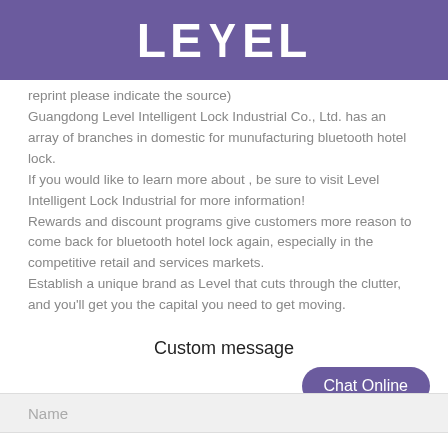LEVEL
reprint please indicate the source)
Guangdong Level Intelligent Lock Industrial Co., Ltd. has an array of branches in domestic for munufacturing bluetooth hotel lock.
If you would like to learn more about , be sure to visit Level Intelligent Lock Industrial for more information!
Rewards and discount programs give customers more reason to come back for bluetooth hotel lock again, especially in the competitive retail and services markets.
Establish a unique brand as Level that cuts through the clutter, and you'll get you the capital you need to get moving.
Custom message
Chat Online
Name